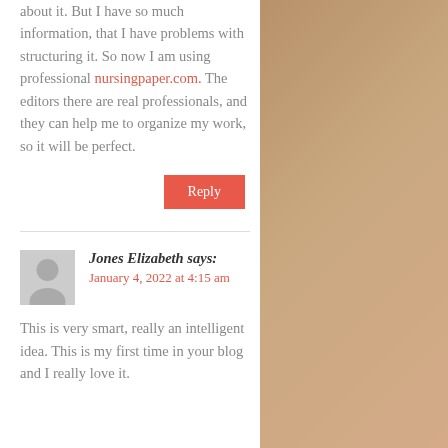about it. But I have so much information, that I have problems with structuring it. So now I am using professional nursingpaper.com. The editors there are real professionals, and they can help me to organize my work, so it will be perfect.
Reply
Jones Elizabeth says:
January 4, 2022 at 4:15 am
This is very smart, really an intelligent idea. This is my first time in your blog and I really love it.